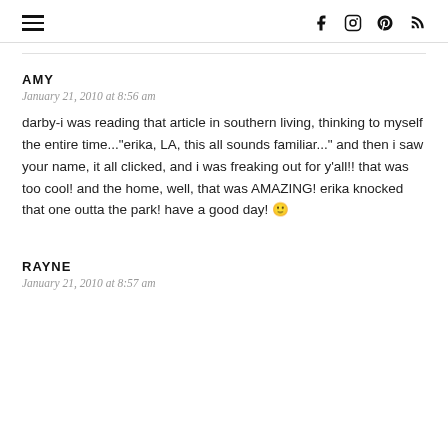≡  f  Instagram  Pinterest  RSS
AMY
January 21, 2010 at 8:56 am
darby-i was reading that article in southern living, thinking to myself the entire time..."erika, LA, this all sounds familiar..." and then i saw your name, it all clicked, and i was freaking out for y'all!! that was too cool! and the home, well, that was AMAZING! erika knocked that one outta the park! have a good day! 🙂
RAYNE
January 21, 2010 at 8:57 am